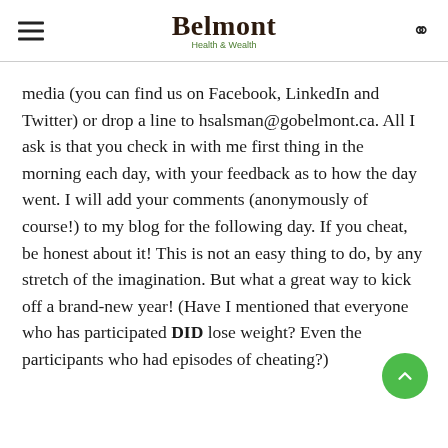Belmont Health & Wealth
media (you can find us on Facebook, LinkedIn and Twitter) or drop a line to hsalsman@gobelmont.ca. All I ask is that you check in with me first thing in the morning each day, with your feedback as to how the day went. I will add your comments (anonymously of course!) to my blog for the following day. If you cheat, be honest about it! This is not an easy thing to do, by any stretch of the imagination. But what a great way to kick off a brand-new year! (Have I mentioned that everyone who has participated DID lose weight? Even the participants who had episodes of cheating?)